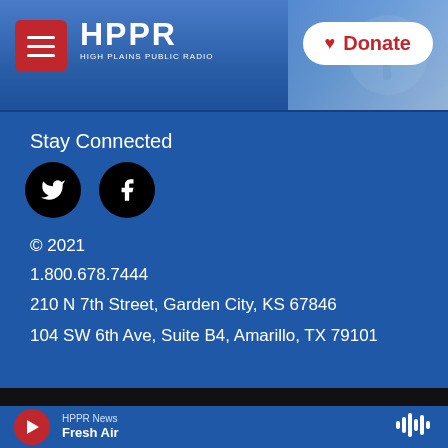[Figure (screenshot): HPPR website header with red hamburger menu button, HPPR High Plains Public Radio logo in white text, and a white Donate button with red heart icon on the right. Background shows blue sky with a silhouette figure.]
Stay Connected
[Figure (illustration): Two circular black social media icons: Twitter bird icon and Facebook f icon]
© 2021
1.800.678.7444
210 N 7th Street, Garden City, KS 67846
104 SW 6th Ave, Suite B4, Amarillo, TX 79101
HPPR News Fresh Air